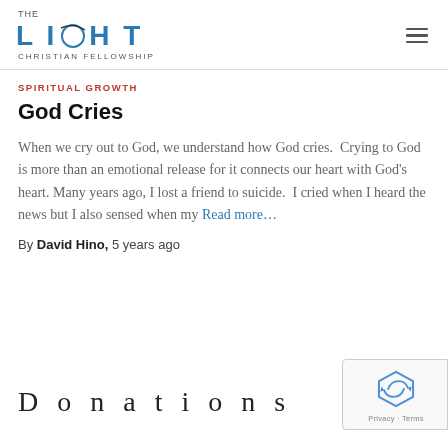THE LIGHT CHRISTIAN FELLOWSHIP
SPIRITUAL GROWTH
God Cries
When we cry out to God, we understand how God cries.  Crying to God is more than an emotional release for it connects our heart with God's heart. Many years ago, I lost a friend to suicide.  I cried when I heard the news but I also sensed when my Read more…
By David Hino, 5 years ago
Donations
[Figure (logo): reCAPTCHA badge with Privacy - Terms text]